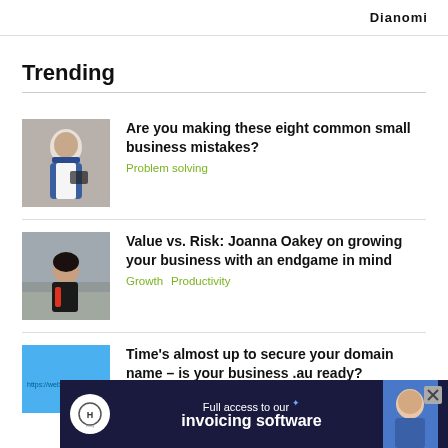Dianomi
Trending
[Figure (photo): Man in apron looking at tablet in restaurant setting]
Are you making these eight common small business mistakes?
Problem solving
[Figure (photo): Woman in red top seated on steps, smiling]
Value vs. Risk: Joanna Oakey on growing your business with an endgame in mind
Growth   Productivity
[Figure (photo): Blue background with https://website.au text]
Time’s almost up to secure your domain name – is your business .au ready?
[Figure (infographic): Ad banner: Full access to our invoicing software - Hnry app advertisement with dark blue background]